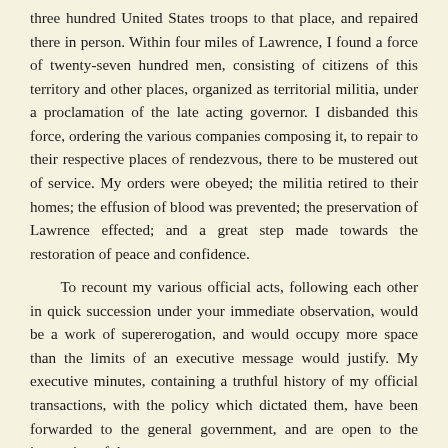three hundred United States troops to that place, and repaired there in person. Within four miles of Lawrence, I found a force of twenty-seven hundred men, consisting of citizens of this territory and other places, organized as territorial militia, under a proclamation of the late acting governor. I disbanded this force, ordering the various companies composing it, to repair to their respective places of rendezvous, there to be mustered out of service. My orders were obeyed; the militia retired to their homes; the effusion of blood was prevented; the preservation of Lawrence effected; and a great step made towards the restoration of peace and confidence.
To recount my various official acts, following each other in quick succession under your immediate observation, would be a work of supererogation, and would occupy more space than the limits of an executive message would justify. My executive minutes, containing a truthful history of my official transactions, with the policy which dictated them, have been forwarded to the general government, and are open to the inspection of the country.
In relation to any alterations or modifications of the territorial statutes which I might deem advisable, I promised in my inaugural address to direct public attention at the proper time. In the progress of events, that time has arrived, and you are the tribunal to which my suggestions must be submitted.